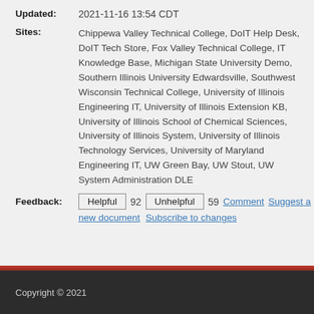Updated: 2021-11-16 13:54 CDT
Sites: Chippewa Valley Technical College, DoIT Help Desk, DoIT Tech Store, Fox Valley Technical College, IT Knowledge Base, Michigan State University Demo, Southern Illinois University Edwardsville, Southwest Wisconsin Technical College, University of Illinois Engineering IT, University of Illinois Extension KB, University of Illinois School of Chemical Sciences, University of Illinois System, University of Illinois Technology Services, University of Maryland Engineering IT, UW Green Bay, UW Stout, UW System Administration DLE
Feedback: Helpful 92 Unhelpful 59 Comment Suggest a new document Subscribe to changes
Copyright © 2021